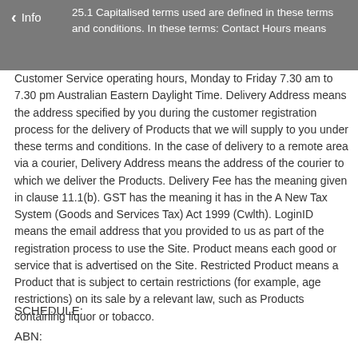Info
25.1 Capitalised terms used are defined in these terms and conditions. In these terms: Contact Hours means Customer Service operating hours, Monday to Friday 7.30 am to 7.30 pm Australian Eastern Daylight Time. Delivery Address means the address specified by you during the customer registration process for the delivery of Products that we will supply to you under these terms and conditions. In the case of delivery to a remote area via a courier, Delivery Address means the address of the courier to which we deliver the Products. Delivery Fee has the meaning given in clause 11.1(b). GST has the meaning it has in the A New Tax System (Goods and Services Tax) Act 1999 (Cwlth). LoginID means the email address that you provided to us as part of the registration process to use the Site. Product means each good or service that is advertised on the Site. Restricted Product means a Product that is subject to certain restrictions (for example, age restrictions) on its sale by a relevant law, such as Products containing liquor or tobacco.
SCHEDULE:
ABN: